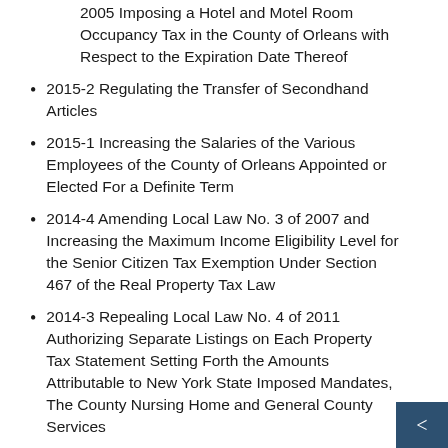2005 Imposing a Hotel and Motel Room Occupancy Tax in the County of Orleans with Respect to the Expiration Date Thereof
2015-2 Regulating the Transfer of Secondhand Articles
2015-1 Increasing the Salaries of the Various Employees of the County of Orleans Appointed or Elected For a Definite Term
2014-4 Amending Local Law No. 3 of 2007 and Increasing the Maximum Income Eligibility Level for the Senior Citizen Tax Exemption Under Section 467 of the Real Property Tax Law
2014-3 Repealing Local Law No. 4 of 2011 Authorizing Separate Listings on Each Property Tax Statement Setting Forth the Amounts Attributable to New York State Imposed Mandates, The County Nursing Home and General County Services
2014-2 Authorizing the Use of Best Value for Awarding Purchase Contracts
2014-1 Increasing the Salaries of Various Employ…